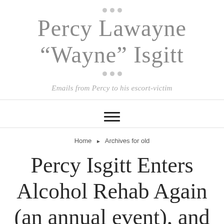Percy Lawayne "Wayne" Isgitt
Emails from Percy to his escort-victim
[Figure (other): Hamburger menu icon with three horizontal lines]
Home ▶ Archives for old
Percy Isgitt Enters Alcohol Rehab Again (an annual event), and Rick Silsby Tries